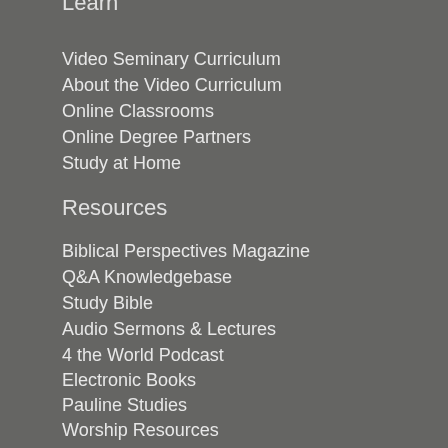Learn
Video Seminary Curriculum
About the Video Curriculum
Online Classrooms
Online Degree Partners
Study at Home
Resources
Biblical Perspectives Magazine
Q&A Knowledgebase
Study Bible
Audio Sermons & Lectures
4 the World Podcast
Electronic Books
Pauline Studies
Worship Resources
Connect
Mobile Apps
Newsletters